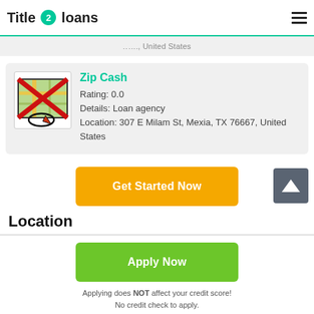Title 2 loans
... United States
Zip Cash
Rating: 0.0
Details: Loan agency
Location: 307 E Milam St, Mexia, TX 76667, United States
Get Started Now
Location
Apply Now
Applying does NOT affect your credit score!
No credit check to apply.